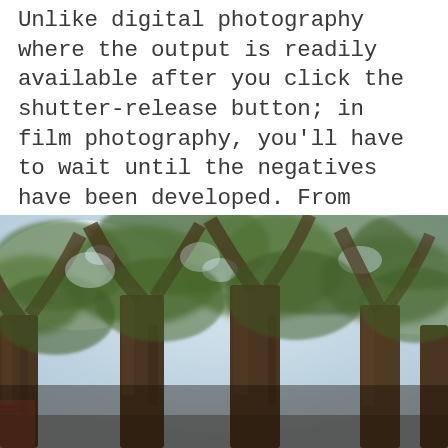Unlike digital photography where the output is readily available after you click the shutter-release button; in film photography, you'll have to wait until the negatives have been developed. From there, you can see whether you lack or have an excessive amount of lights and shadows. Through trial and error, I was able to develop effective knowledge-building skills in terms of playing with the lights and shadows, which give me better composition.
[Figure (photo): A photograph of trees with brown trunks and green leafy canopy against a bright sky, slightly blurred/bokeh effect, taken from below looking up through the branches.]